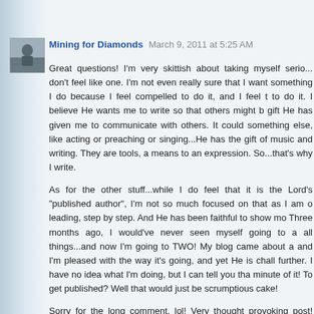[Figure (photo): Small square avatar photo in black and white showing a person outdoors]
Mining for Diamonds  March 9, 2011 at 5:25 AM
Great questions! I'm very skittish about taking myself serio... don't feel like one. I'm not even really sure that I want something I do because I feel compelled to do it, and I feel t to do it. I believe He wants me to write so that others might b gift He has given me to communicate with others. It could something else, like acting or preaching or singing...He has the gift of music and writing. They are tools, a means to an expression. So...that's why I write.

As for the other stuff...while I do feel that it is the Lord's "published author", I'm not so much focused on that as I am leading, step by step. And He has been faithful to show mo Three months ago, I would've never seen myself going to a all things...and now I'm going to TWO! My blog came about a and I'm pleased with the way it's going, and yet He is chall further. I have no idea what I'm doing, but I can tell you tha minute of it! To get published? Well that would just be scrumptious cake!

Sorry for the long comment, lol! Very thought provoking post! series!